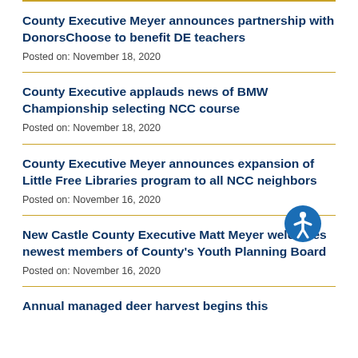County Executive Meyer announces partnership with DonorsChoose to benefit DE teachers
Posted on: November 18, 2020
County Executive applauds news of BMW Championship selecting NCC course
Posted on: November 18, 2020
County Executive Meyer announces expansion of Little Free Libraries program to all NCC neighbors
Posted on: November 16, 2020
New Castle County Executive Matt Meyer welcomes newest members of County's Youth Planning Board
Posted on: November 16, 2020
Annual managed deer harvest begins this